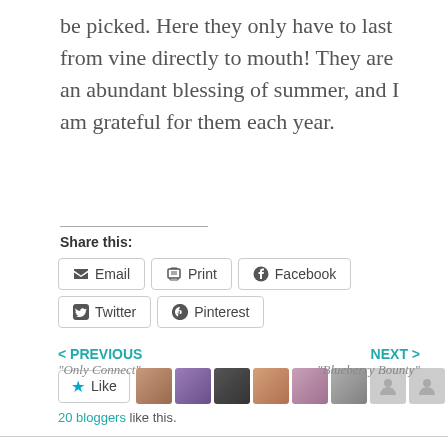be picked. Here they only have to last from vine directly to mouth! They are an abundant blessing of summer, and I am grateful for them each year.
Share this:
Email  Print  Facebook  Twitter  Pinterest
[Figure (infographic): Like button with star icon and 10 blogger avatar thumbnails]
20 bloggers like this.
< PREVIOUS
"Only Connect"
NEXT >
"Blueberry Bounty"